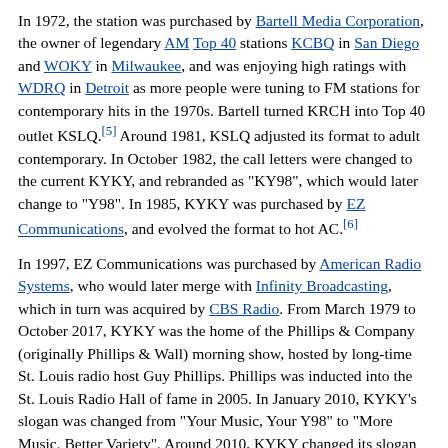In 1972, the station was purchased by Bartell Media Corporation, the owner of legendary AM Top 40 stations KCBQ in San Diego and WOKY in Milwaukee, and was enjoying high ratings with WDRQ in Detroit as more people were tuning to FM stations for contemporary hits in the 1970s. Bartell turned KRCH into Top 40 outlet KSLQ.[5] Around 1981, KSLQ adjusted its format to adult contemporary. In October 1982, the call letters were changed to the current KYKY, and rebranded as "KY98", which would later change to "Y98". In 1985, KYKY was purchased by EZ Communications, and evolved the format to hot AC.[6]
In 1997, EZ Communications was purchased by American Radio Systems, who would later merge with Infinity Broadcasting, which in turn was acquired by CBS Radio. From March 1979 to October 2017, KYKY was the home of the Phillips & Company (originally Phillips & Wall) morning show, hosted by long-time St. Louis radio host Guy Phillips. Phillips was inducted into the St. Louis Radio Hall of fame in 2005. In January 2010, KYKY's slogan was changed from "Your Music, Your Y98" to "More Music. Better Variety". Around 2010, KYKY changed its slogan to "Today's Best Music".
On February 2, 2017, CBS Radio announced it would merge with Entercom.[7][8] The merger was approved on November 9, 2017.